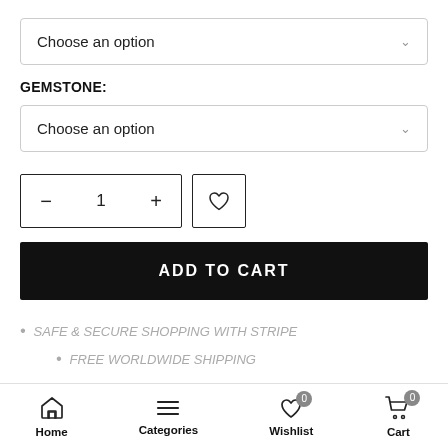Choose an option
GEMSTONE:
Choose an option
- 1 + ♡
ADD TO CART
SAFE & SECURE SHOPPING WITH STRIPE
FREE WORLDWIDE SHIPPING
12 MONTHS WARRANTY
Home   Categories   Wishlist 0   Cart 0